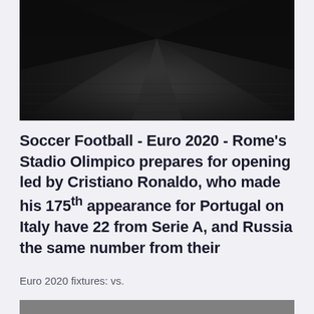[Figure (photo): Dark, moody photograph of a brick-paved road or walkway receding into the distance, shot from low perspective with dark tones and vignetting.]
Soccer Football - Euro 2020 - Rome's Stadio Olimpico prepares for opening led by Cristiano Ronaldo, who made his 175th appearance for Portugal on Italy have 22 from Serie A, and Russia the same number from their
Euro 2020 fixtures: vs.
[Figure (photo): Partial view of another dark/grey image at the bottom of the page, cropped.]